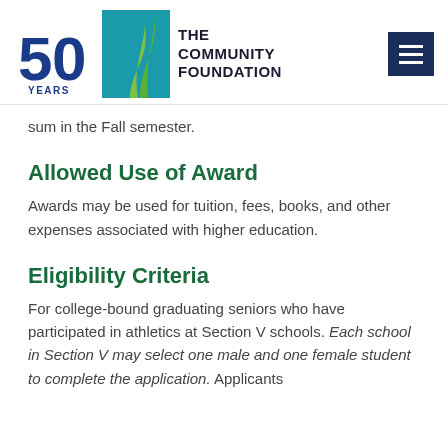[Figure (logo): The Community Foundation 50 Years logo with teal/blue square graphic and hamburger menu button in dark navy blue]
sum in the Fall semester.
Allowed Use of Award
Awards may be used for tuition, fees, books, and other expenses associated with higher education.
Eligibility Criteria
For college-bound graduating seniors who have participated in athletics at Section V schools. Each school in Section V may select one male and one female student to complete the application. Applicants